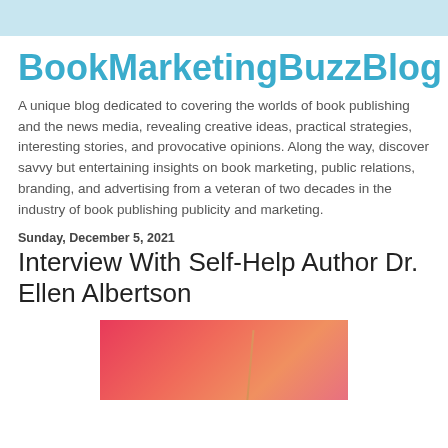BookMarketingBuzzBlog
A unique blog dedicated to covering the worlds of book publishing and the news media, revealing creative ideas, practical strategies, interesting stories, and provocative opinions. Along the way, discover savvy but entertaining insights on book marketing, public relations, branding, and advertising from a veteran of two decades in the industry of book publishing publicity and marketing.
Sunday, December 5, 2021
Interview With Self-Help Author Dr. Ellen Albertson
[Figure (photo): Partial view of a book cover with red/pink gradient background and a thin gold/orange diagonal line, likely the book by Dr. Ellen Albertson]